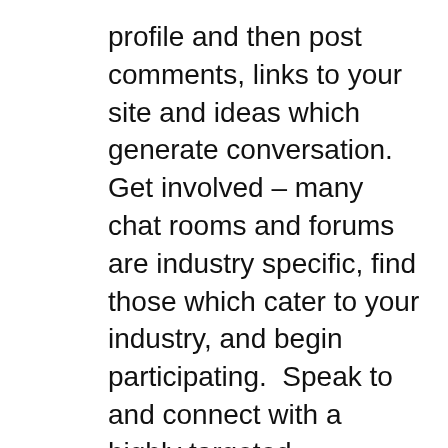profile and then post comments, links to your site and ideas which generate conversation. Get involved – many chat rooms and forums are industry specific, find those which cater to your industry, and begin participating.  Speak to and connect with a highly targeted audience.
Tip #5 Advertise for more exposure and traffic
Advertising, when handled strategically, can be used to